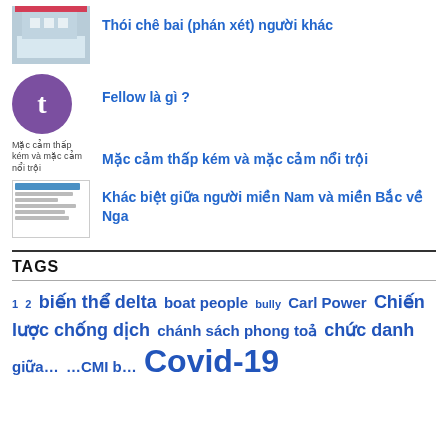Thói chê bai (phán xét) người khác
Fellow là gì ?
Mặc cảm thấp kém và mặc cảm nổi trội
Khác biệt giữa người miền Nam và miền Bắc về Nga
TAGS
1 2 biến thể delta boat people bully Carl Power Chiến lược chống dịch chánh sách phong toả chức danh … covid-19